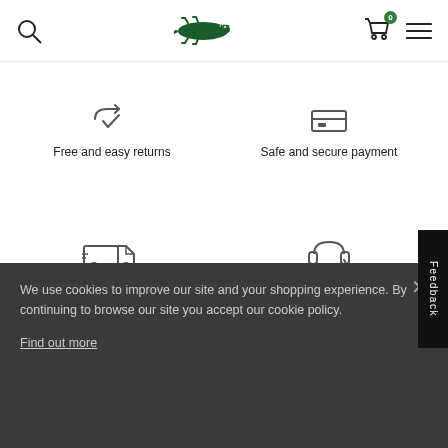[Figure (screenshot): Lacoste website header with search icon, crocodile logo, shopping bag with badge 0, and hamburger menu]
[Figure (infographic): Returns icon (checkmark with arrow)]
Free and easy returns
[Figure (infographic): Safe payment icon (credit card/lock)]
Safe and secure payment
[Figure (infographic): Delivery truck icon]
Free delivery
[Figure (infographic): Customer service headset icon]
Customer Service
Feedback
We use cookies to improve our site and your shopping experience. By continuing to browse our site you accept our cookie policy.
Find out more